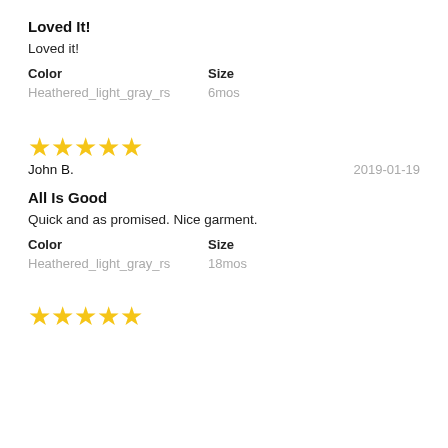Loved It!
Loved it!
Color
Heathered_light_gray_rs
Size
6mos
[Figure (other): 5 gold stars rating]
John B.	2019-01-19
All Is Good
Quick and as promised. Nice garment.
Color
Heathered_light_gray_rs
Size
18mos
[Figure (other): 5 gold stars rating]